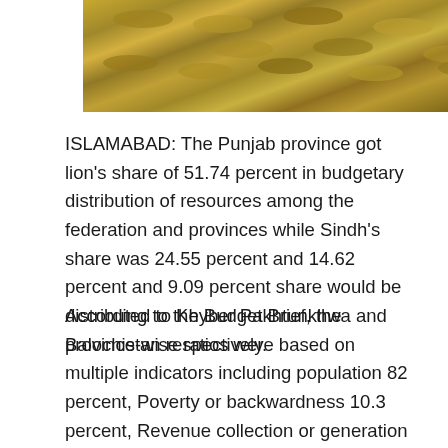[Figure (photo): Close-up photo of golden/bronze coins stacked together]
ISLAMABAD: The Punjab province got lion's share of 51.74 percent in budgetary distribution of resources among the federation and provinces while Sindh's share was 24.55 percent and 14.62 percent and 9.09 percent share would be distributed to Khyber Pakhtunkhwa and Balochistan respectively.
According to the Budget Brief, the province-wise ratios were based on multiple indicators including population 82 percent, Poverty or backwardness 10.3 percent, Revenue collection or generation 5 percent and Inverse population density 2.7 percent.